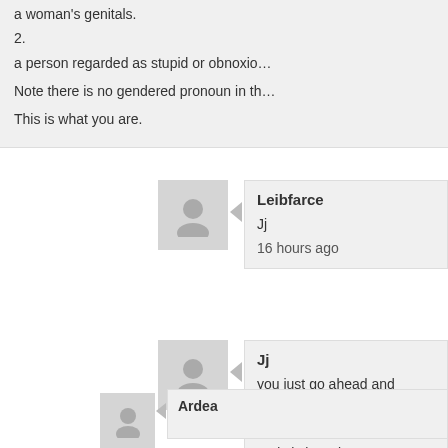a woman's genitals.
2.
a person regarded as stupid or obnoxio…
Note there is no gendered pronoun in th…
This is what you are.
Leibfarce
Jj
16 hours ago
Jj
you just go ahead and believe your own… by you.
and cis is a slur.
Ardea